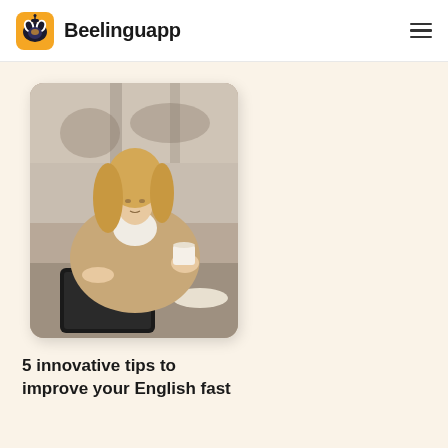Beelinguapp
[Figure (photo): A blonde woman in a beige blazer sitting at a table, looking down at a tablet while holding a white coffee cup, in a cafe setting]
5 innovative tips to improve your English fast